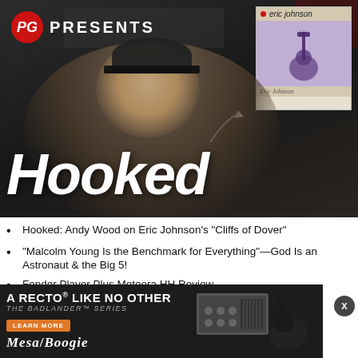[Figure (screenshot): PG Presents Hooked video thumbnail showing a man in a black shirt and black cap gesturing toward an Eric Johnson album cover insert, with 'Hooked' in large italic white text at the bottom left]
Hooked: Andy Wood on Eric Johnson's "Cliffs of Dover"
“Malcolm Young Is the Benchmark for Everything”—God Is an Astronaut & the Big 5!
Fender Player Plus Meteora HH Review
Helmer’s How-Tos: 8 Steps to Float Your Strat Trem
Phil G... [partially obscured by ad]
[Figure (screenshot): Mesa/Boogie advertisement: 'A RECTO LIKE NO OTHER - THE BADLANDER SERIES' with a guitar amp and electric guitar image, LEARN MORE button, Mesa/Boogie logo]